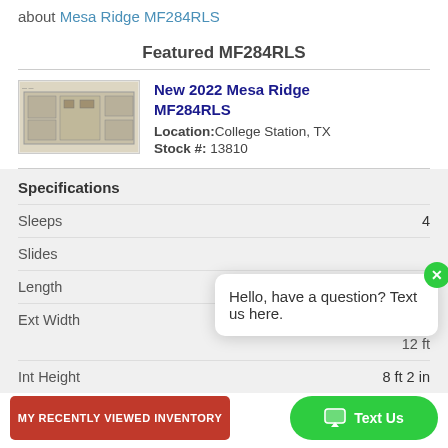about Mesa Ridge MF284RLS
Featured MF284RLS
[Figure (illustration): Floor plan illustration of Mesa Ridge MF284RLS RV, showing top-down layout]
New 2022 Mesa Ridge MF284RLS
Location: College Station, TX
Stock #: 13810
Specifications
| Spec | Value |
| --- | --- |
| Sleeps | 4 |
| Slides |  |
| Length | 34 ft 3 in |
| Ext Width | 8 ft |
|  | 12 ft |
| Int Height | 8 ft 2 in |
Hello, have a question? Text us here.
MY RECENTLY VIEWED INVENTORY
Text Us